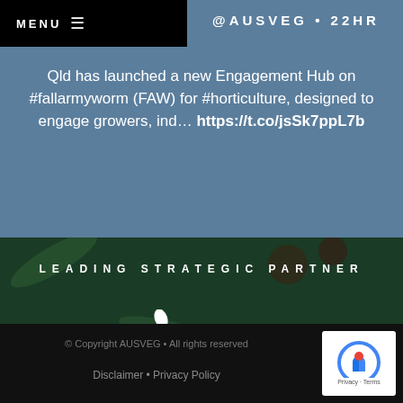MENU
@AUSVEG • 22HR
Qld has launched a new Engagement Hub on #fallarmyworm (FAW) for #horticulture, designed to engage growers, ind... https://t.co/jsSk7ppL7b
[Figure (photo): Dark green background with vegetables (cucumbers, tomatoes, herbs) visible under overlay, with white text 'LEADING STRATEGIC PARTNER' and Syngenta logo]
© Copyright AUSVEG • All rights reserved  Disclaimer • Privacy Policy